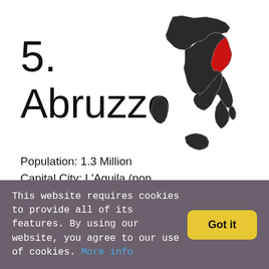5. Abruzzo
[Figure (map): Map of Italy with Abruzzo region highlighted in red, other regions in dark grey]
Population: 1.3 Million
Capital City: L'Aquila (pop. 70,000)
This website requires cookies to provide all of its features. By using our website, you agree to our use of cookies. More info